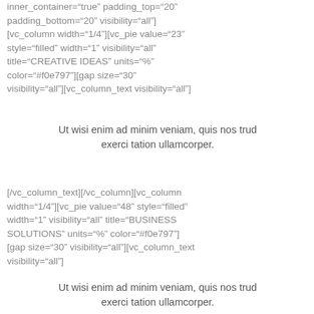inner_container="true" padding_top="20" padding_bottom="20" visibility="all"][vc_column width="1/4"][vc_pie value="23" style="filled" width="1" visibility="all" title="CREATIVE IDEAS" units="%" color="#f0e797"][gap size="30" visibility="all"][vc_column_text visibility="all"]
Ut wisi enim ad minim veniam, quis nos trud exerci tation ullamcorper.
[/vc_column_text][/vc_column][vc_column width="1/4"][vc_pie value="48" style="filled" width="1" visibility="all" title="BUSINESS SOLUTIONS" units="%" color="#f0e797"][gap size="30" visibility="all"][vc_column_text visibility="all"]
Ut wisi enim ad minim veniam, quis nos trud exerci tation ullamcorper.